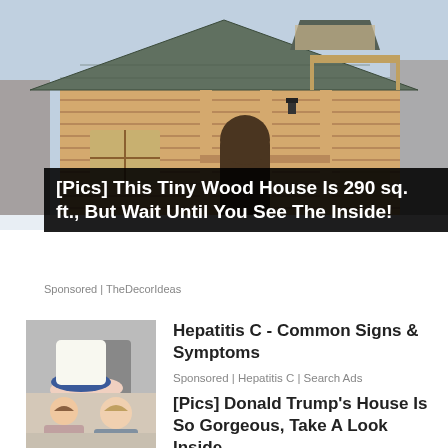[Figure (photo): A small log cabin / tiny wood house with large wooden beams, covered porch, small windows, and a wooden shingle roof, photographed outdoors in winter.]
[Pics] This Tiny Wood House Is 290 sq. ft., But Wait Until You See The Inside!
Sponsored | TheDecorIdeas
[Figure (photo): Woman sitting cross-legged in a chair wearing high heels and a skirt, showing legs — used as illustration for Hepatitis C ad.]
Hepatitis C - Common Signs & Symptoms
Sponsored | Hepatitis C | Search Ads
[Figure (photo): Portrait of a man and woman, used as illustration for Donald Trump's house article.]
[Pics] Donald Trump's House Is So Gorgeous, Take A Look Inside